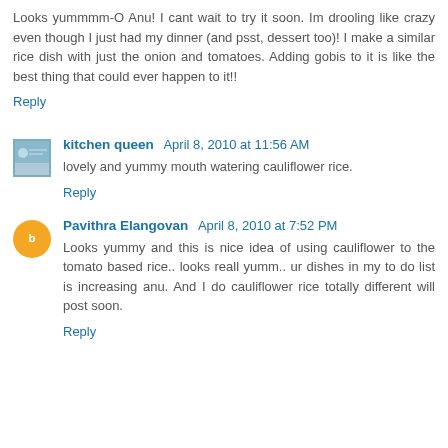Looks yummmm-O Anu! I cant wait to try it soon. Im drooling like crazy even though I just had my dinner (and psst, dessert too)! I make a similar rice dish with just the onion and tomatoes. Adding gobis to it is like the best thing that could ever happen to it!!
Reply
kitchen queen  April 8, 2010 at 11:56 AM
lovely and yummy mouth watering cauliflower rice.
Reply
Pavithra Elangovan  April 8, 2010 at 7:52 PM
Looks yummy and this is nice idea of using cauliflower to the tomato based rice.. looks reall yumm.. ur dishes in my to do list is increasing anu. And I do cauliflower rice totally different will post soon.
Reply